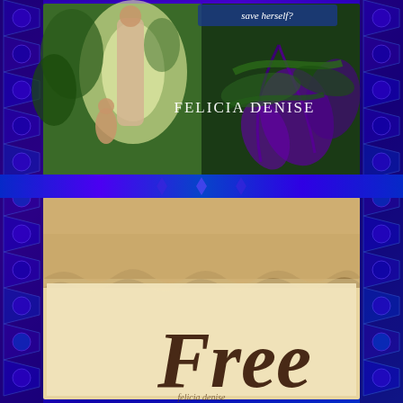[Figure (illustration): Book cover collage: top half shows a man with a young child in a bright garden/outdoor setting on the left, and purple calla lilies on the right. Text reads 'save herself?' and author name 'Felicia Denise'. Bottom half shows a parchment/aged paper texture with cursive script reading 'Free' and smaller text below. The entire composition has a decorative blue and purple fractal/geometric border pattern on the sides.]